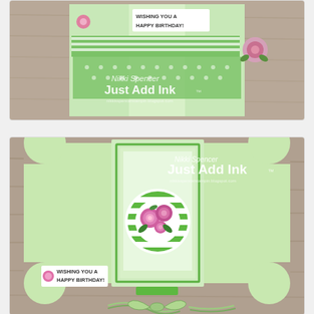[Figure (photo): Top photo showing a green handmade birthday card with floral decoration and 'Wishing You A Happy Birthday' sentiment, with Nikki Spencer / Just Add Ink watermark overlay.]
[Figure (photo): Larger bottom photo showing the same green handmade gate-fold birthday card open, with pink roses in a striped circle, green twine bow at bottom, and Nikki Spencer / Just Add Ink watermark.]